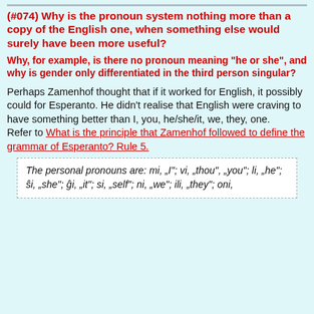(#074) Why is the pronoun system nothing more than a copy of the English one, when something else would surely have been more useful?
Why, for example, is there no pronoun meaning "he or she", and why is gender only differentiated in the third person singular?
Perhaps Zamenhof thought that if it worked for English, it possibly could for Esperanto. He didn't realise that English were craving to have something better than I, you, he/she/it, we, they, one.
Refer to What is the principle that Zamenhof followed to define the grammar of Esperanto? Rule 5.
The personal pronouns are: mi, „I"; vi, „thou", „you"; li, „he"; ŝi, „she"; ĝi, „it"; si, „self"; ni, „we"; ili, „they"; oni,